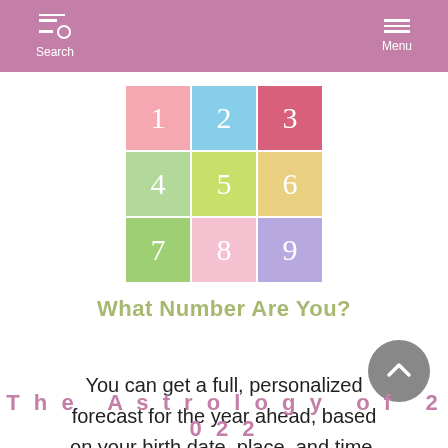Search | Menu
[Figure (illustration): 3x3 grid of colored squares numbered 1-9, resembling a numerology logo]
What Number Are You?
You can get a full, personalized forecast for the year ahead, based on your birth date, place, and time, for only $4.95 here.
The Astrology of 2022